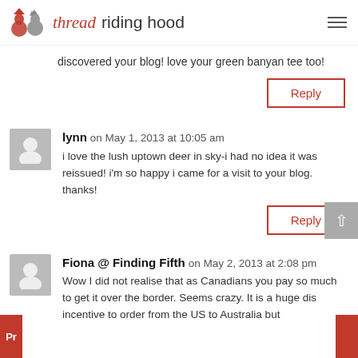thread riding hood
discovered your blog! love your green banyan tee too!
Reply
lynn on May 1, 2013 at 10:05 am
i love the lush uptown deer in sky-i had no idea it was reissued! i'm so happy i came for a visit to your blog. thanks!
Reply
Fiona @ Finding Fifth on May 2, 2013 at 2:08 pm
Wow I did not realise that as Canadians you pay so much to get it over the border. Seems crazy. It is a huge dis incentive to order from the US to Australia but